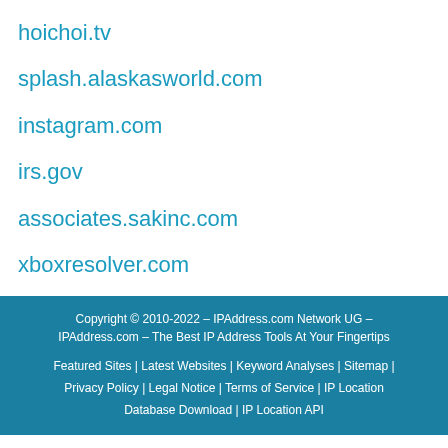hoichoi.tv
splash.alaskasworld.com
instagram.com
irs.gov
associates.sakinc.com
xboxresolver.com
Copyright © 2010-2022 – IPAddress.com Network UG – IPAddress.com – The Best IP Address Tools At Your Fingertips
Featured Sites | Latest Websites | Keyword Analyses | Sitemap | Privacy Policy | Legal Notice | Terms of Service | AL Location | Database Download | IP Location API